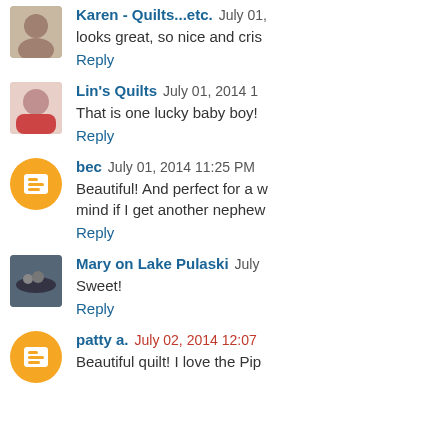Karen - Quilts...etc. July 01 [date truncated]
looks great, so nice and cris[p]
Reply
Lin's Quilts July 01, 2014 1[...]
That is one lucky baby boy! [...]
Reply
bec July 01, 2014 11:25 PM
Beautiful! And perfect for a w[...] mind if I get another nephew[...]
Reply
Mary on Lake Pulaski July [...]
Sweet!
Reply
patty a. July 02, 2014 12:07[...]
Beautiful quilt! I love the Pip[...]